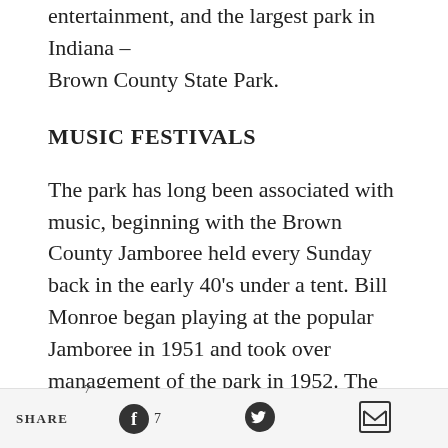hiking, kayaking, fishing, shopping, dining, live entertainment, and the largest park in Indiana – Brown County State Park.
MUSIC FESTIVALS
The park has long been associated with music, beginning with the Brown County Jamboree held every Sunday back in the early 40's under a tent. Bill Monroe began playing at the popular Jamboree in 1951 and took over management of the park in 1952. The tradition of music and festivals continues in Bean Blossom, this year 6 music festivals are being produced by the park.
Outside of the music, a big draw to these festivals is
7  SHARE  [Facebook] 7  [Twitter]  [Email]